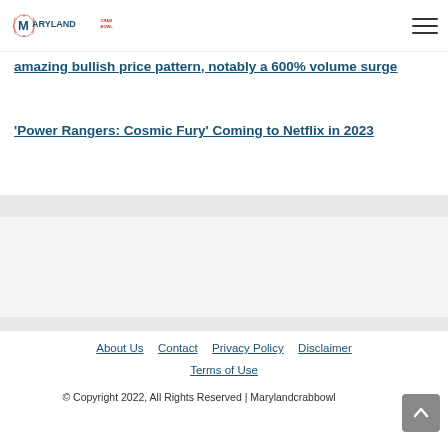Maryland Crab Bowl — site header with logo and hamburger menu
amazing bullish price pattern, notably a 600% volume surge
'Power Rangers: Cosmic Fury' Coming to Netflix in 2023
About Us | Contact | Privacy Policy | Disclaimer | Terms of Use
© Copyright 2022, All Rights Reserved | Marylandcrabbowl